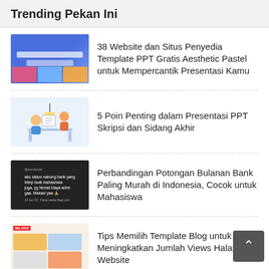Trending Pekan Ini
38 Website dan Situs Penyedia Template PPT Gratis Aesthetic Pastel untuk Mempercantik Presentasi Kamu
5 Poin Penting dalam Presentasi PPT Skripsi dan Sidang Akhir
Perbandingan Potongan Bulanan Bank Paling Murah di Indonesia, Cocok untuk Mahasiswa
Tips Memilih Template Blog untuk Meningkatkan Jumlah Views Halaman Website
Download Font Logo Vector HUT RI ke 77 Tahun 2022 Corel Draw